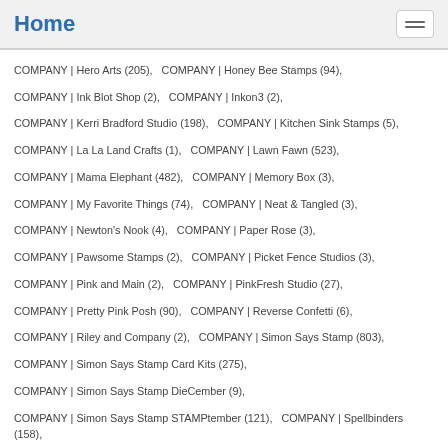Home
COMPANY | Hero Arts (205),   COMPANY | Honey Bee Stamps (94),
COMPANY | Ink Blot Shop (2),   COMPANY | Inkon3 (2),
COMPANY | Kerri Bradford Studio (198),   COMPANY | Kitchen Sink Stamps (5),
COMPANY | La La Land Crafts (1),   COMPANY | Lawn Fawn (523),
COMPANY | Mama Elephant (482),   COMPANY | Memory Box (3),
COMPANY | My Favorite Things (74),   COMPANY | Neat & Tangled (3),
COMPANY | Newton's Nook (4),   COMPANY | Paper Rose (3),
COMPANY | Pawsome Stamps (2),   COMPANY | Picket Fence Studios (3),
COMPANY | Pink and Main (2),   COMPANY | PinkFresh Studio (27),
COMPANY | Pretty Pink Posh (90),   COMPANY | Reverse Confetti (6),
COMPANY | Riley and Company (2),   COMPANY | Simon Says Stamp (803),
COMPANY | Simon Says Stamp Card Kits (275),
COMPANY | Simon Says Stamp DieCember (9),
COMPANY | Simon Says Stamp STAMPtember (121),   COMPANY | Spellbinders (158),
COMPANY | Studio Katia (2),   COMPANY | Sugar Pea Designs (5),
COMPANY | Sunny Studio Stamps (3),   COMPANY | Taylored Expressions (2),